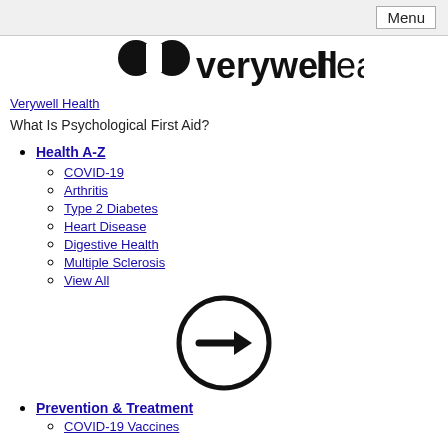Menu
[Figure (logo): Verywell Health logo with bow-tie icon and bold/light text]
Verywell Health
What Is Psychological First Aid?
Health A-Z
COVID-19
Arthritis
Type 2 Diabetes
Heart Disease
Digestive Health
Multiple Sclerosis
View All
[Figure (illustration): Black circle with right-pointing arrow inside]
Prevention & Treatment
COVID-19 Vaccines